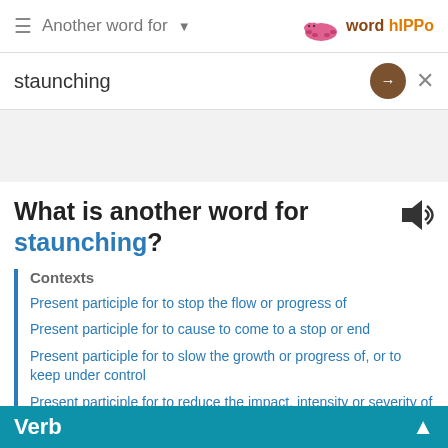≡ Another word for ▼  word HIPPO
staunching
What is another word for staunching?
Contexts
Present participle for to stop the flow or progress of
Present participle for to cause to come to a stop or end
Present participle for to slow the growth or progress of, or to keep under control
Present participle for to reduce the impact, intensity or severity of something
Verb